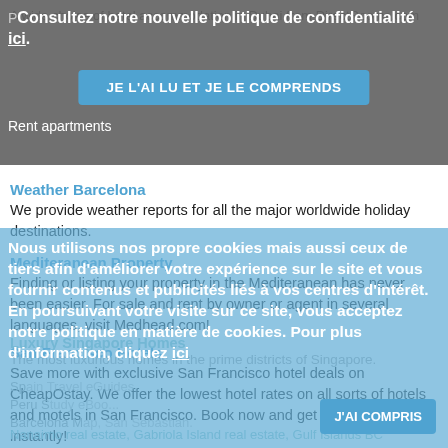A wide choice of hotel accommodation in Dubai from DirectRooms.com
[Figure (screenshot): French cookie policy overlay with text 'Consultez notre nouvelle politique de confidentialité ici.' and a blue button 'JE L'AI LU ET JE LE COMPRENDS']
Rent apartments
Weather Barcelona
We provide weather reports for all the major worldwide holiday destinations.
Mediteranean Property
Finding or listing your property in the Mediteranean has never been easier. For sale and rent by owner or agent in several languages, visit Medhead.com!
San Francisco Hotels
Save more with exclusive San Francisco hotel deals on CheapOstay. We offer the lowest hotel rates on all sorts of hotels and motels in San Francisco. Book now and get reservation instantly!
Luxury Singapore Homes
The most luxurious homes in the prime districts of Singapore.
Spain Travel eGuides, Peru Study Abroad, Portugal travel, Borneo travel, Barcelona Map, San Sebastian.
[Figure (screenshot): French cookie consent overlay: 'Nous utilisons nos propre cookies mais aussi ceux de tiers afin d'améliorer votre expérience sur le site et vous fournir contenus et publicités liés à vos centres d'intérêt. En poursuivant votre visite sur ce site, vous acceptez notre politique en matière de cookies. Pour plus d'information, cliquez ici' with button 'J'AI COMPRIS']
Nanaimo real estate, Gabriola Island real estate, Gulf Islands BC